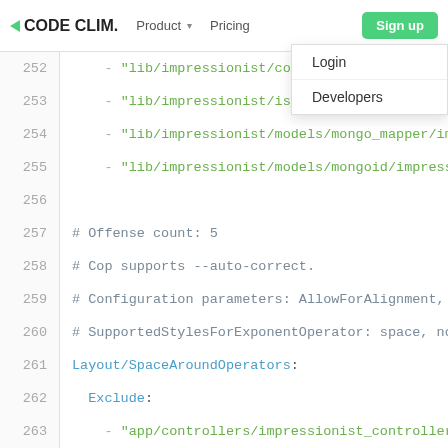CODE CLIMATE  Product  Pricing  Sign up  Login  Developers
252     - "lib/impressionist/counter_cache.rb"
253     - "lib/impressionist/is_impressionable.rb"
254     - "lib/impressionist/models/mongo_mapper/im
255     - "lib/impressionist/models/mongoid/impress
256
257   # Offense count: 5
258   # Cop supports --auto-correct.
259   # Configuration parameters: AllowForAlignment,
260   # SupportedStylesForExponentOperator: space, no
261   Layout/SpaceAroundOperators:
262     Exclude:
263       - "app/controllers/impressionist_controller
264       - "lib/impressionist/controllers/mongoid/im
265       - "lib/impressionist/counter_cache.rb"
266       - "lib/impressionist/models/mongo_mapper/im
267